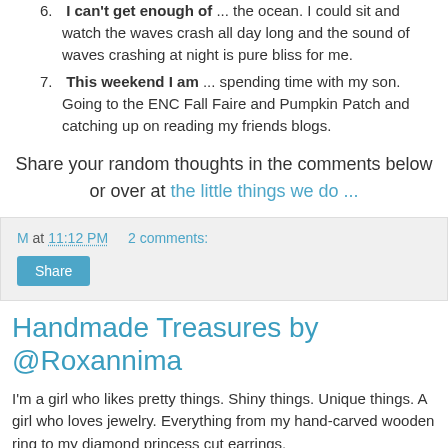6. I can't get enough of ... the ocean. I could sit and watch the waves crash all day long and the sound of waves crashing at night is pure bliss for me.
7. This weekend I am ... spending time with my son. Going to the ENC Fall Faire and Pumpkin Patch and catching up on reading my friends blogs.
Share your random thoughts in the comments below or over at the little things we do ...
M at 11:12 PM    2 comments:
Share
Handmade Treasures by @Roxannima
I'm a girl who likes pretty things. Shiny things. Unique things. A girl who loves jewelry. Everything from my hand-carved wooden ring to my diamond princess cut earrings.